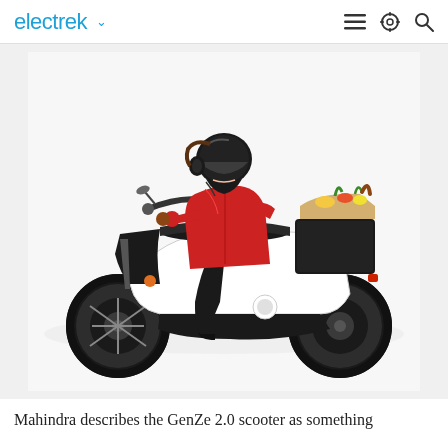electrek
[Figure (photo): A woman wearing a black helmet and red coat riding a white and black electric scooter (Mahindra GenZe 2.0) with a basket of groceries on the rear rack, photographed against a white background.]
Mahindra describes the GenZe 2.0 scooter as something